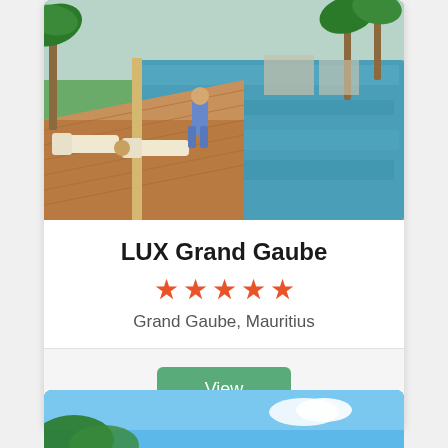[Figure (photo): Luxury hotel pool area with wooden deck, lounge chairs, palm trees, and a person walking in a blue outfit. Blue sky reflected in the infinity pool.]
LUX Grand Gaube
[Figure (infographic): Five orange/red star rating icons]
Grand Gaube, Mauritius
View
[Figure (photo): Partial view of a second hotel card with blue sky and palm trees at bottom of page]